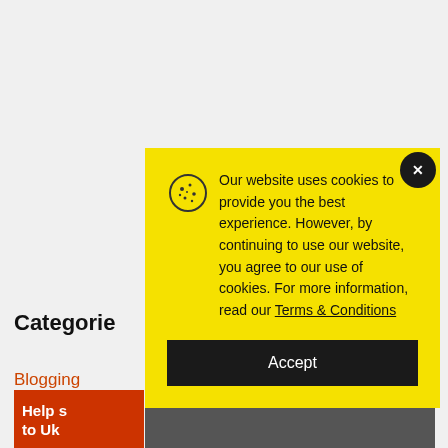Categories
Blogging
Help s… to Uk…
[Figure (screenshot): Video placeholder showing 'No compatible source was found for this media.' message with an overlay graphic]
Our website uses cookies to provide you the best experience. However, by continuing to use our website, you agree to our use of cookies. For more information, read our Terms & Conditions
Accept